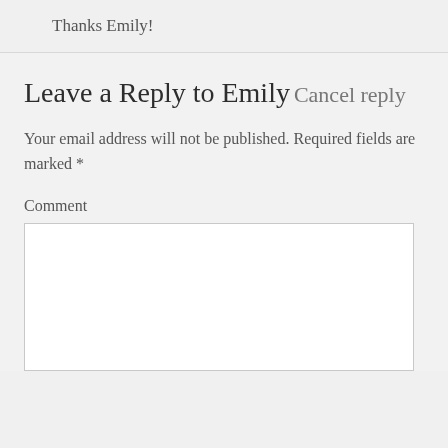Thanks Emily!
Leave a Reply to Emily Cancel reply
Your email address will not be published. Required fields are marked *
Comment